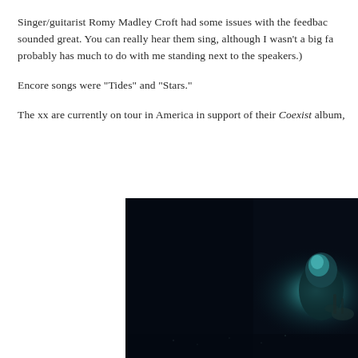Singer/guitarist Romy Madley Croft had some issues with the feedback sounded great. You can really hear them sing, although I wasn't a big fa probably has much to do with me standing next to the speakers.)
Encore songs were "Tides" and "Stars."
The xx are currently on tour in America in support of their Coexist album,
[Figure (photo): Dark concert/stage photo showing a performer illuminated in blue-green light against a very dark background, with a drum kit visible on the right side.]